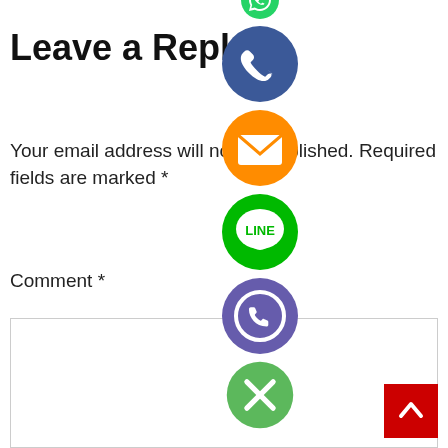Leave a Reply
Your email address will not be published. Required fields are marked *
Comment *
[Figure (illustration): Vertical stack of social media share buttons: WhatsApp (green), Phone/Viber call (blue), Email (orange), LINE (green), Viber (purple), Close/X (light green)]